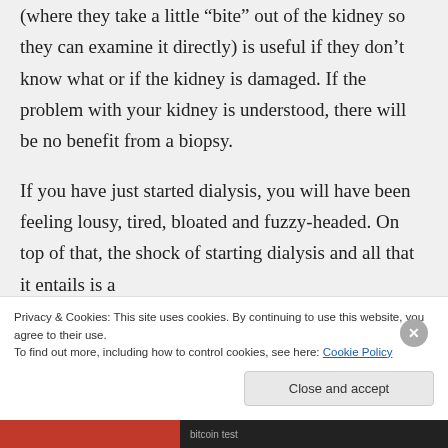(where they take a little “bite” out of the kidney so they can examine it directly) is useful if they don’t know what or if the kidney is damaged. If the problem with your kidney is understood, there will be no benefit from a biopsy.
If you have just started dialysis, you will have been feeling lousy, tired, bloated and fuzzy-headed. On top of that, the shock of starting dialysis and all that it entails is a
Privacy & Cookies: This site uses cookies. By continuing to use this website, you agree to their use.
To find out more, including how to control cookies, see here: Cookie Policy